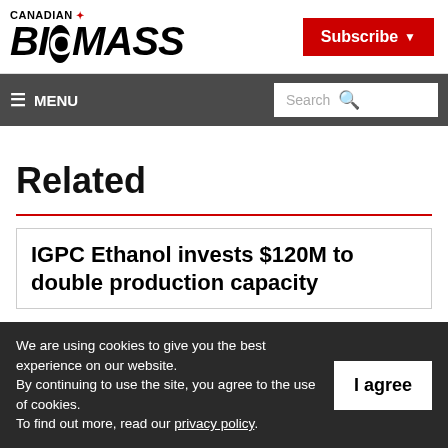CANADIAN BIOMASS
Subscribe
≡ MENU  Search
Related
IGPC Ethanol invests $120M to double production capacity
We are using cookies to give you the best experience on our website. By continuing to use the site, you agree to the use of cookies. To find out more, read our privacy policy.